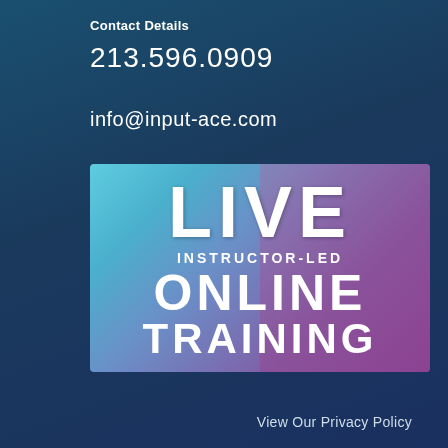Contact Details
213.596.0909
info@input-ace.com
[Figure (illustration): Promotional banner for Live Instructor-Led Online Training showing text overlay on a background image of a woman at a computer workstation with teal and purple gradient overlay. Text reads: LIVE / INSTRUCTOR-LED / ONLINE / TRAINING]
View Our Privacy Policy